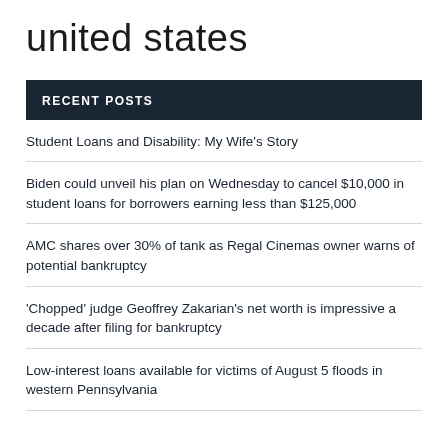united states
RECENT POSTS
Student Loans and Disability: My Wife's Story
Biden could unveil his plan on Wednesday to cancel $10,000 in student loans for borrowers earning less than $125,000
AMC shares over 30% of tank as Regal Cinemas owner warns of potential bankruptcy
'Chopped' judge Geoffrey Zakarian's net worth is impressive a decade after filing for bankruptcy
Low-interest loans available for victims of August 5 floods in western Pennsylvania